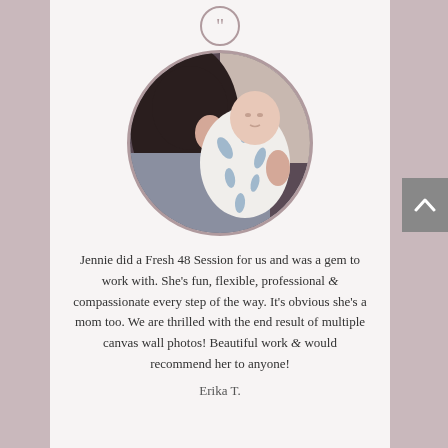[Figure (photo): Circular framed photo of a dark-haired woman holding a newborn baby wrapped in a white and blue leaf-patterned blanket.]
Jennie did a Fresh 48 Session for us and was a gem to work with. She’s fun, flexible, professional & compassionate every step of the way. It’s obvious she’s a mom too. We are thrilled with the end result of multiple canvas wall photos! Beautiful work & would recommend her to anyone!
Erika T.